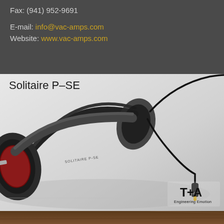Fax: (941) 952-9691
E-mail: info@vac-amps.com
Website: www.vac-amps.com
Solitaire P-SE
[Figure (photo): T+A Solitaire P-SE over-ear headphones in black with red ear cushions, lying on a surface with a cable and 3.5mm jack visible. T+A Engineering Emotion logo in bottom right corner.]
[Figure (photo): Partial view of wooden surface at bottom of page]